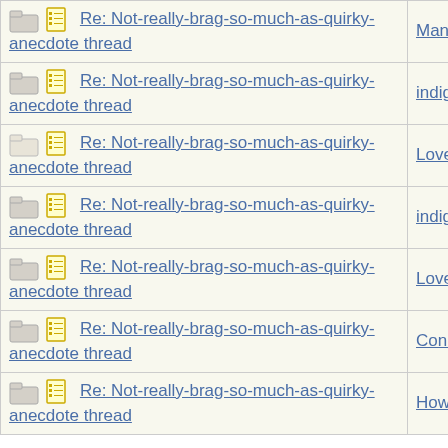| Thread | Author |
| --- | --- |
| Re: Not-really-brag-so-much-as-quirky-anecdote thread | Mana |
| Re: Not-really-brag-so-much-as-quirky-anecdote thread | indigo |
| Re: Not-really-brag-so-much-as-quirky-anecdote thread | Lovemyd |
| Re: Not-really-brag-so-much-as-quirky-anecdote thread | indigo |
| Re: Not-really-brag-so-much-as-quirky-anecdote thread | Lovemyd |
| Re: Not-really-brag-so-much-as-quirky-anecdote thread | Connecti |
| Re: Not-really-brag-so-much-as-quirky-anecdote thread | HowlerK |